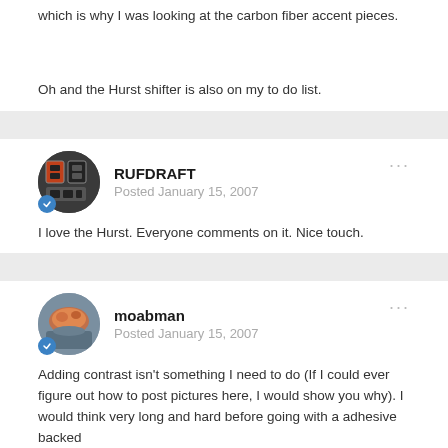which is why I was looking at the carbon fiber accent pieces.
Oh and the Hurst shifter is also on my to do list.
RUFDRAFT
Posted January 15, 2007
I love the Hurst. Everyone comments on it. Nice touch.
moabman
Posted January 15, 2007
Adding contrast isn't something I need to do (If I could ever figure out how to post pictures here, I would show you why). I would think very long and hard before going with a adhesive backed